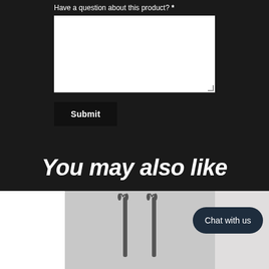Have a question about this product? *
[Figure (screenshot): White textarea input box for question submission with resize handle at bottom right]
Submit
You may also like
[Figure (photo): Product thumbnail images in a row: white background product on left, two tuning forks on grey background in center, partial product on right. A dark navy 'Chat with us' pill button overlays the right side.]